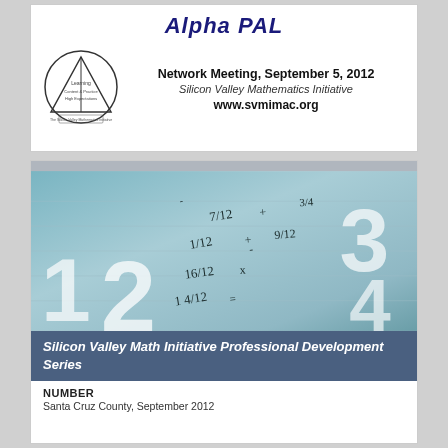Alpha PAL
Network Meeting, September 5, 2012
Silicon Valley Mathematics Initiative
www.svmimac.org
[Figure (logo): Silicon Valley Mathematics Initiative logo with triangle inside circle]
[Figure (photo): Photo of math fractions and numbers on paper/notebook surface with teal/blue tint]
Silicon Valley Math Initiative Professional Development Series
NUMBER
Santa Cruz County, September 2012